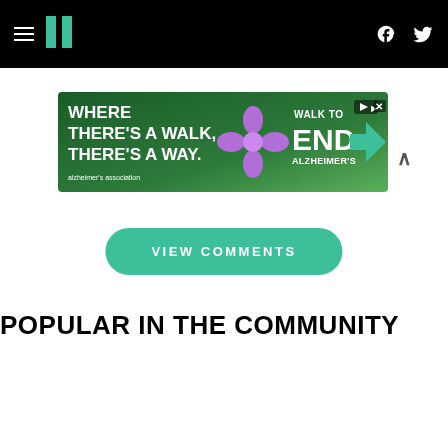HuffPost navigation bar with hamburger menu, logo, Facebook and Twitter icons
[Figure (screenshot): Advertisement banner: WHERE THERE'S A WALK, THERE'S A WAY. Walk to End Alzheimer's with purple flower graphic and arrow]
VIEW COMMENTS
POPULAR IN THE COMMUNITY